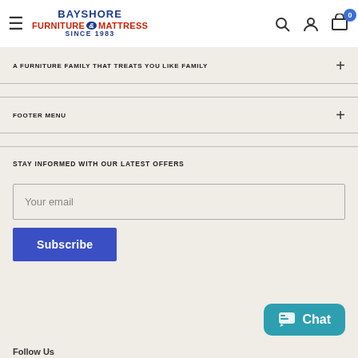[Figure (logo): Bayshore Furniture & Mattress Since 1983 logo with navigation icons]
A FURNITURE FAMILY THAT TREATS YOU LIKE FAMILY
FOOTER MENU
STAY INFORMED WITH OUR LATEST OFFERS
Your email
Subscribe
Chat
Follow Us